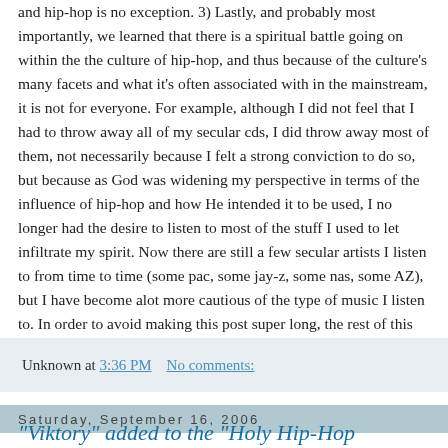and hip-hop is no exception. 3) Lastly, and probably most importantly, we learned that there is a spiritual battle going on within the the culture of hip-hop, and thus because of the culture's many facets and what it's often associated with in the mainstream, it is not for everyone. For example, although I did not feel that I had to throw away all of my secular cds, I did throw away most of them, not necessarily because I felt a strong conviction to do so, but because as God was widening my perspective in terms of the influence of hip-hop and how He intended it to be used, I no longer had the desire to listen to most of the stuff I used to let infiltrate my spirit. Now there are still a few secular artists I listen to from time to time (some pac, some jay-z, some nas, some AZ), but I have become alot more cautious of the type of music I listen to. In order to avoid making this post super long, the rest of this messsage will be included in part 2. Speekonit...
Unknown at 3:36 PM   No comments:
Saturday, September 16, 2006
"Viktory" added to the "Holy Hip-Hop